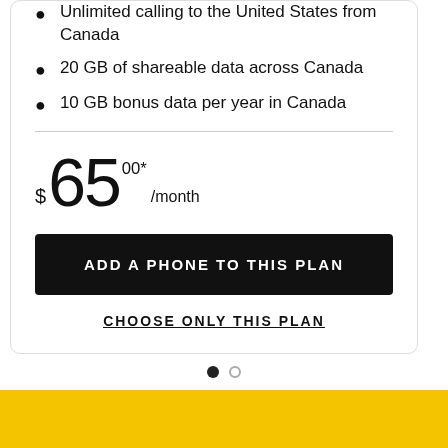Unlimited calling to the United States from Canada
20 GB of shareable data across Canada
10 GB bonus data per year in Canada
$65.00*/month
ADD A PHONE TO THIS PLAN
CHOOSE ONLY THIS PLAN